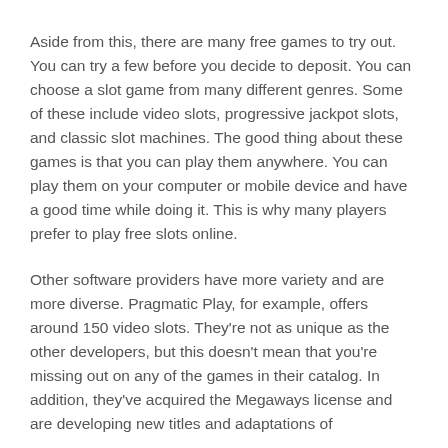Aside from this, there are many free games to try out. You can try a few before you decide to deposit. You can choose a slot game from many different genres. Some of these include video slots, progressive jackpot slots, and classic slot machines. The good thing about these games is that you can play them anywhere. You can play them on your computer or mobile device and have a good time while doing it. This is why many players prefer to play free slots online.
Other software providers have more variety and are more diverse. Pragmatic Play, for example, offers around 150 video slots. They're not as unique as the other developers, but this doesn't mean that you're missing out on any of the games in their catalog. In addition, they've acquired the Megaways license and are developing new titles and adaptations of